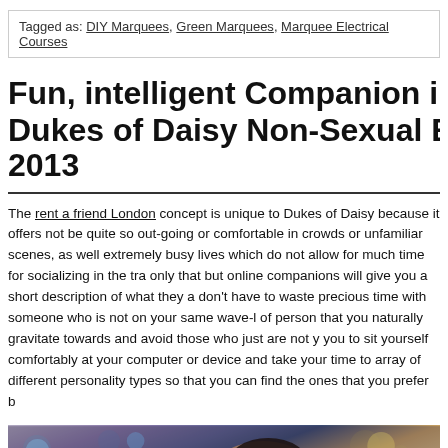Tagged as: DIY Marquees, Green Marquees, Marquee Electrical Courses
Fun, intelligent Companion in London – Dukes of Daisy Non-Sexual Escort 2013
The rent a friend London concept is unique to Dukes of Daisy because it offers not be quite so out-going or comfortable in crowds or unfamiliar scenes, as well extremely busy lives which do not allow for much time for socializing in the traditional way. Not only that but online companions will give you a short description of what they are like so you don't have to waste precious time with someone who is not on your same wave-length. Find the type of person that you naturally gravitate towards and avoid those who just are not your type. This allows you to sit yourself comfortably at your computer or device and take your time to browse through an array of different personality types so that you can find the ones that you prefer best.
[Figure (photo): Photo of a smiling young woman with dark hair at what appears to be a social event or party, with bokeh lights in the background and other people visible.]